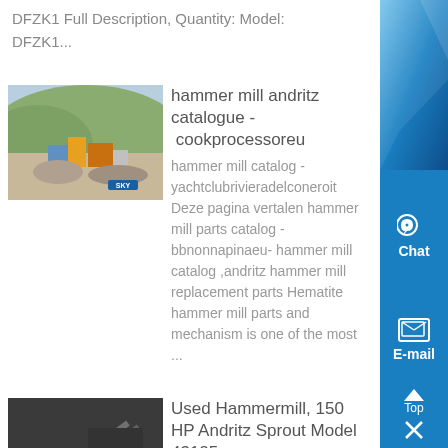DFZK1 Full Description, Quantity: Model: DFZK1...
[Figure (photo): Quarry/crushing plant with machinery and hillside background, SKY branded equipment]
hammer mill andritz catalogue - cookprocessoreu
hammer mill catalog - yachtclubrivieradelconeroit Deze pagina vertalen hammer mill parts catalog - bbnonnapinaeu- hammer mill catalog ,andritz hammer mill replacement parts Hematite hammer mill parts and mechanism is one of the most ...
[Figure (photo): Industrial hammermill/conveyor equipment at night or low light, SKY branded]
Used Hammermill, 150 HP Andritz Sprout Model 43125 ,
Details about Used Hammermill, 150 HP Andritz Sprout Model 43125 [PARTS] Be the first to write a review Used